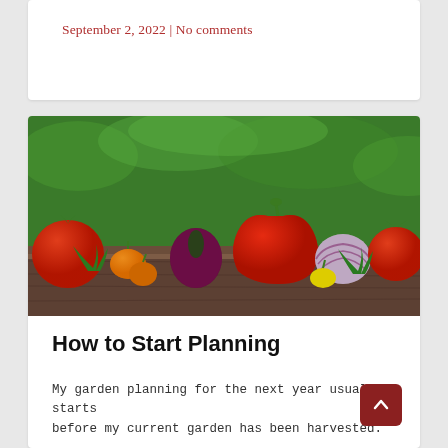September 2, 2022 | No comments
[Figure (photo): Colorful vegetables arranged on a wooden surface with green grass in the background, including tomatoes, red and orange bell peppers, a red onion, a halved red onion, parsley, and a yellow mini pepper.]
How to Start Planning
My garden planning for the next year usually starts before my current garden has been harvested.